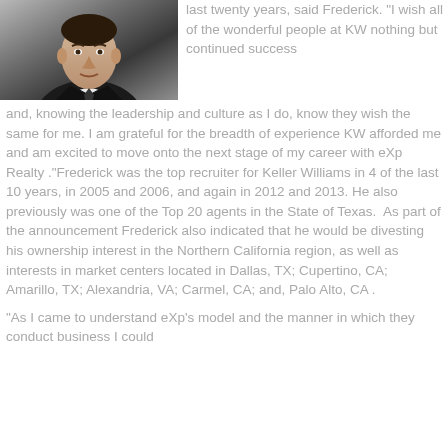[Figure (photo): Professional headshot of a man in a dark suit and white shirt against a dark background]
last twenty years, said Frederick. “I wish all of the wonderful people at KW nothing but continued success and, knowing the leadership and culture as I do, know they wish the same for me. I am grateful for the breadth of experience KW afforded me and am excited to move onto the next stage of my career with eXp Realty .”Frederick was the top recruiter for Keller Williams in 4 of the last 10 years, in 2005 and 2006, and again in 2012 and 2013. He also previously was one of the Top 20 agents in the State of Texas. As part of the announcement Frederick also indicated that he would be divesting his ownership interest in the Northern California region, as well as interests in market centers located in Dallas, TX; Cupertino, CA; Amarillo, TX; Alexandria, VA; Carmel, CA; and, Palo Alto, CA .
“As I came to understand eXp’s model and the manner in which they conduct business I could